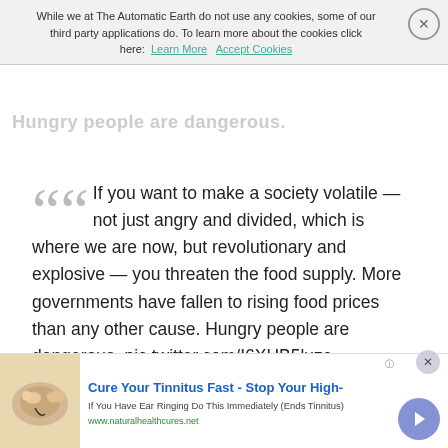While we at The Automatic Earth do not use any cookies, some of our third party applications do. To learn more about the cookies click here: Learn More  Accept Cookies
Hungry people are dangerous.
If you want to make a society volatile — not just angry and divided, which is where we are now, but revolutionary and explosive — you threaten the food supply. More governments have fallen to rising food prices than any other cause. Hungry people are dangerous. pic.twitter.com/I6XHB5luzc
— Tucker Carlson (@TuckerCarlson) March 19, 2022
[Figure (other): Partial view of a banner titled 'Perceptions of war crimes by vaccine acceptance']
[Figure (other): Advertisement: Cure Your Tinnitus Fast - Stop Your High- | If You Have Ear Ringing Do This Immediately (Ends Tinnitus) | www.naturalhealthcures.net]